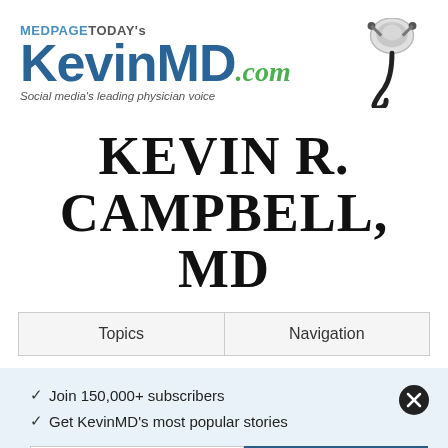[Figure (logo): MedPageToday's KevinMD.com logo with stethoscope icon and tagline 'Social media's leading physician voice']
KEVIN R. CAMPBELL, MD
| Topics | Navigation |
| --- | --- |
✓ Join 150,000+ subscribers
✓ Get KevinMD's most popular stories
Email | Subscribe. It's free.